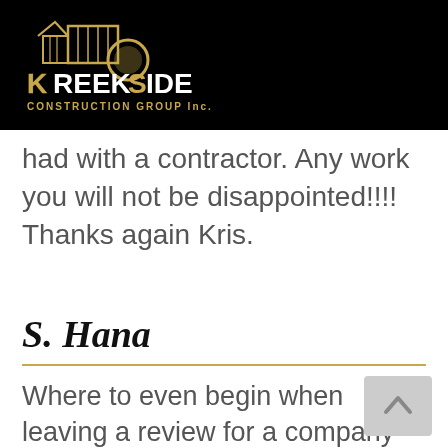[Figure (logo): Kreek Side Construction Group Inc. logo with gold house/building graphic on black background]
had with a contractor. Any work you will not be disappointed!!!! Thanks again Kris.
S. Hana
Where to even begin when leaving a review for a company that not only